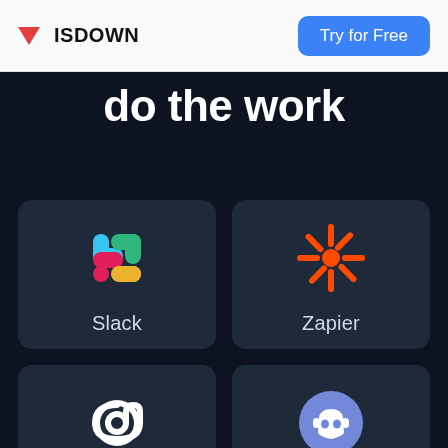ISDOWN | Try for Free
do the work
[Figure (logo): Slack integration card with Slack colorful grid logo and label 'Slack']
[Figure (logo): Zapier integration card with orange asterisk logo and label 'Zapier']
[Figure (logo): Email integration card with white @ symbol and label 'Email']
[Figure (logo): Discord integration card with purple Discord logo and label 'Discord']